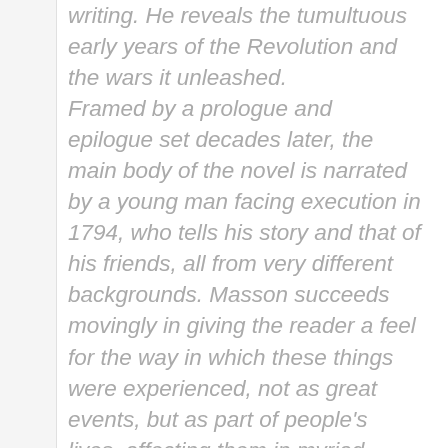writing. He reveals the tumultuous early years of the Revolution and the wars it unleashed. Framed by a prologue and epilogue set decades later, the main body of the novel is narrated by a young man facing execution in 1794, who tells his story and that of his friends, all from very different backgrounds. Masson succeeds movingly in giving the reader a feel for the way in which these things were experienced, not as great events, but as part of people's lives, affecting them in myriad ways, both great and small. She evokes a portrait of a whole community, and of a